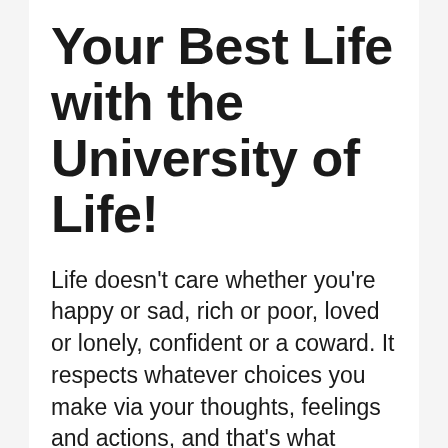Your Best Life with the University of Life!
Life doesn't care whether you're happy or sad, rich or poor, loved or lonely, confident or a coward. It respects whatever choices you make via your thoughts, feelings and actions, and that's what determines where you end up.
If you're smart, you'll quit living your life randomly. You'll stop doing things the way you've always done them just because that's the way you've always